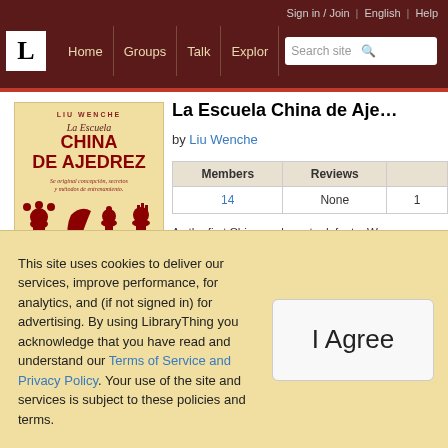Sign in / Join | English | Help | Home | Groups | Talk | Explore | Search site
[Figure (illustration): Book cover of La Escuela China de Ajedrez by Liu Wenche, showing title text and red chess pieces silhouettes on a cream/yellow background]
La Escuela China de Aje...
by Liu Wenche
| Members | Reviews | ... |
| --- | --- | --- |
| 14 | None | 1 |
As the first Chinese player to defeat a We... the dramatic progress of Chinese players... approach, training methods and secrets o...
This site uses cookies to deliver our services, improve performance, for analytics, and (if not signed in) for advertising. By using LibraryThing you acknowledge that you have read and understand our Terms of Service and Privacy Policy. Your use of the site and services is subject to these policies and terms.
I Agree